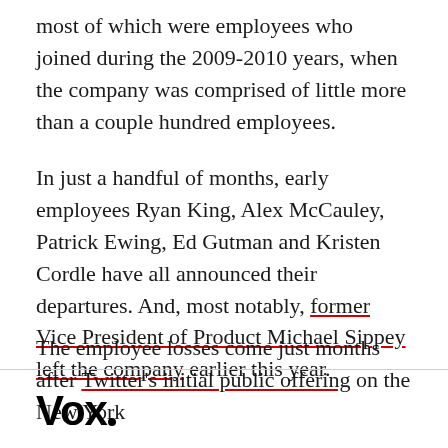most of which were employees who joined during the 2009-2010 years, when the company was comprised of little more than a couple hundred employees.
In just a handful of months, early employees Ryan King, Alex McCauley, Patrick Ewing, Ed Gutman and Kristen Cordle have all announced their departures. And, most notably, former Vice President of Product Michael Sippey left the company earlier this year.
The employee losses come just months after Twitter's initial public offering on the New York
[Figure (logo): Vox media logo in bold black text with a small dot after the x]